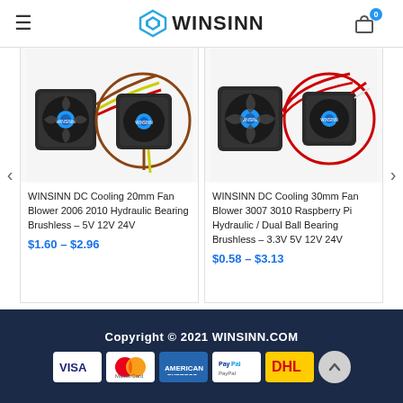WINSINN
[Figure (photo): WINSINN DC Cooling 20mm fan product image showing two small fans with wires]
WINSINN DC Cooling 20mm Fan Blower 2006 2010 Hydraulic Bearing Brushless – 5V 12V 24V
$1.60 – $2.96
[Figure (photo): WINSINN DC Cooling 30mm fan product image showing two small fans with red wires]
WINSINN DC Cooling 30mm Fan Blower 3007 3010 Raspberry Pi Hydraulic / Dual Ball Bearing Brushless – 3.3V 5V 12V 24V
$0.58 – $3.13
Copyright © 2021 WINSINN.COM